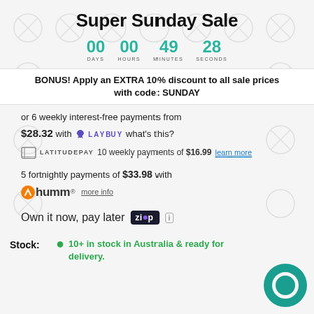Super Sunday Sale
00 DAYS  00 HOURS  49 MINUTES  28 SECONDS
BONUS! Apply an EXTRA 10% discount to all sale prices with code: SUNDAY
or 6 weekly interest-free payments from $28.32 with LAYBUY what's this?
LATITUDEPAY 10 weekly payments of $16.99 learn more
5 fortnightly payments of $33.98 with humm more info
Own it now, pay later ZIP
Stock: 10+ in stock in Australia & ready for delivery.